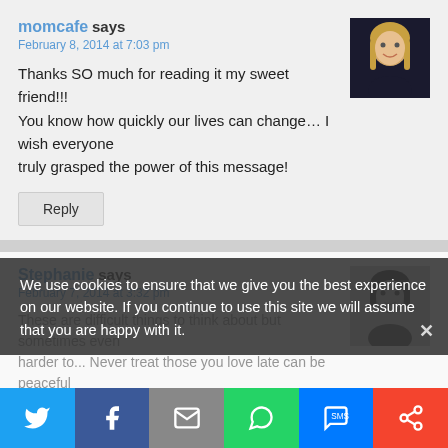momcafe says
February 8, 2014 at 7:03 pm
Thanks SO much for reading it my sweet friend!!! You know how quickly our lives can change… I wish everyone truly grasped the power of this message!
[Figure (photo): Avatar photo of momcafe, woman with blonde hair]
Reply
Stephanie says
February 7, 2014 at 3:32 pm
These are difficult things to think about but sometimes even harder to... (partially obscured)
[Figure (photo): Black and white avatar photo of Stephanie]
We use cookies to ensure that we give you the best experience on our website. If you continue to use this site we will assume that you are happy with it.
[Figure (infographic): Social media share bar with Twitter, Facebook, Email, WhatsApp, SMS, and Share buttons]